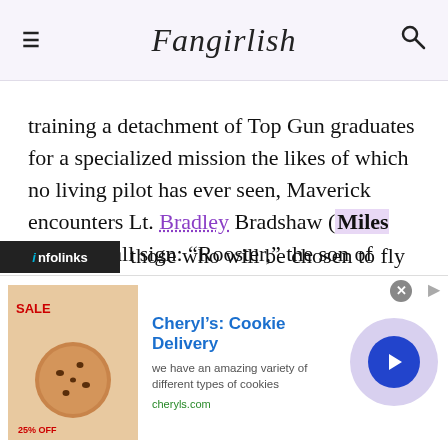Fangirlish
training a detachment of Top Gun graduates for a specialized mission the likes of which no living pilot has ever seen, Maverick encounters Lt. Bradley Bradshaw (Miles Teller), call sign: “Rooster,” the son of Maverick’s late friend and Radar Intercept Officer Lt. Nick Bradshaw, aka “Goose”.
Facing an uncertain future and confronting the ghosts of his past, Maverick is drawn into a confrontation with his own deepest fears, culminating in a mission that demands the ultimate sacrifice from those who will be chosen to fly it.
[Figure (screenshot): Advertisement banner for Cheryl's Cookie Delivery showing cookie product image on left, ad title 'Cheryl's: Cookie Delivery', description text 'we have an amazing variety of different types of cookies', URL 'cheryls.com', and a blue circular arrow button. Infolinks label visible at bottom left of main content.]